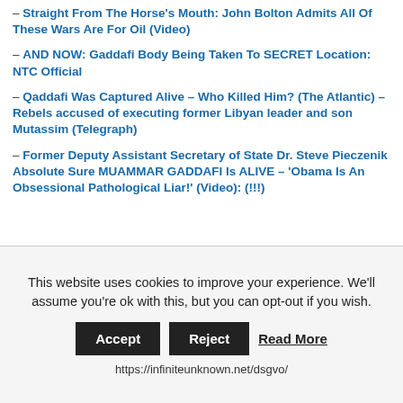– Straight From The Horse's Mouth: John Bolton Admits All Of These Wars Are For Oil (Video)
– AND NOW: Gaddafi Body Being Taken To SECRET Location: NTC Official
– Qaddafi Was Captured Alive – Who Killed Him? (The Atlantic) – Rebels accused of executing former Libyan leader and son Mutassim (Telegraph)
– Former Deputy Assistant Secretary of State Dr. Steve Pieczenik Absolute Sure MUAMMAR GADDAFI Is ALIVE – 'Obama Is An Obsessional Pathological Liar!' (Video): (!!!)
“There’s no way they killed Muammar Gaddafi, that’s not our operating mode and I’ve been involved in 30 years with
This website uses cookies to improve your experience. We'll assume you're ok with this, but you can opt-out if you wish.
Accept  Reject  Read More
https://infiniteunknown.net/dsgvo/